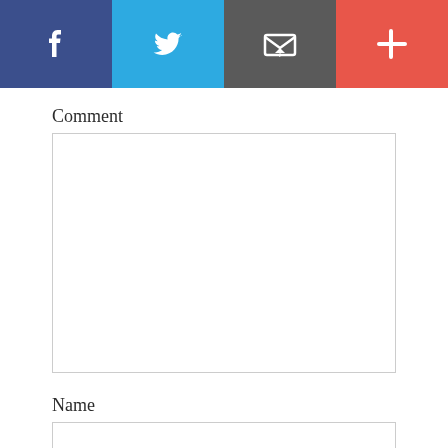[Figure (infographic): Top navigation bar with four social/share buttons: Facebook (dark blue), Twitter (light blue), Email/envelope (gray), and Plus/more (red-orange), each with a white icon]
Comment
[Figure (other): Large empty comment text area input box]
Name
[Figure (other): Name single-line input box]
Email (never published)
[Figure (other): Email single-line input box]
Website
[Figure (other): Website single-line input box (partially visible)]